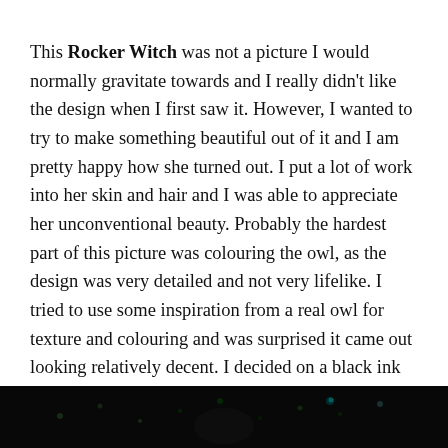This Rocker Witch was not a picture I would normally gravitate towards and I really didn't like the design when I first saw it. However, I wanted to try to make something beautiful out of it and I am pretty happy how she turned out. I put a lot of work into her skin and hair and I was able to appreciate her unconventional beauty. Probably the hardest part of this picture was colouring the owl, as the design was very detailed and not very lifelike. I tried to use some inspiration from a real owl for texture and colouring and was surprised it came out looking relatively decent. I decided on a black ink background, to give the central image a bit of pop. I used Prismacolor pencils, a white Uniball gel pen and black Tombow Brush pen.
[Figure (photo): Bottom strip showing a dark/black background image with faint colored lights or dots, partial view of illustrated artwork]